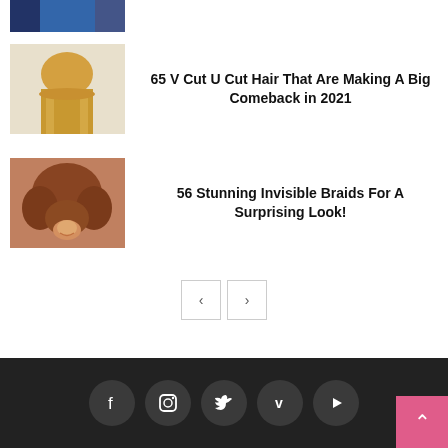[Figure (photo): Thumbnail of person with blue hair, partially cropped at top]
[Figure (photo): Thumbnail of person with blonde straight hair]
65 V Cut U Cut Hair That Are Making A Big Comeback in 2021
[Figure (photo): Thumbnail of person with curly brown/auburn hair in front of brick wall]
56 Stunning Invisible Braids For A Surprising Look!
[Figure (other): Pagination controls with left and right arrow buttons]
Footer with social media icons: Facebook, Instagram, Twitter, Vimeo, YouTube; and back-to-top button